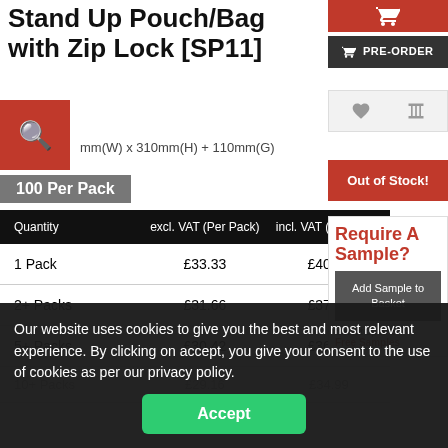Stand Up Pouch/Bag with Zip Lock [SP11]
mm(W) x 310mm(H) + 110mm(G)
100 Per Pack
| Quantity | excl. VAT (Per Pack) | incl. VAT (Per Pack) |
| --- | --- | --- |
| 1 Pack | £33.33 | £40.00 |
| 2+ Packs | £31.66 | £37.99 |
| 5+ Packs | £30.42 | £36.50 |
| 10+ Packs | £29.16 | £34.99 |
PRE-ORDER
Out of Stock!
Require A Sample?
Add Sample to Basket
Select up to 3
Free Samples
Our website uses cookies to give you the best and most relevant experience. By clicking on accept, you give your consent to the use of cookies as per our privacy policy.
Accept